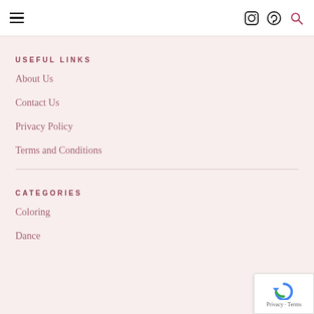Navigation header with hamburger menu, Instagram icon, Pinterest icon, search icon
USEFUL LINKS
About Us
Contact Us
Privacy Policy
Terms and Conditions
CATEGORIES
Coloring
Dance